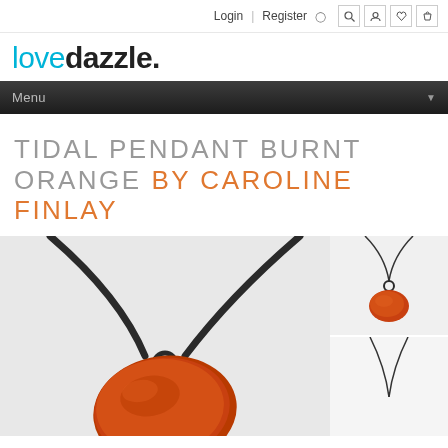Login | Register | Search | Account | Wishlist | Cart
lovedazzle.
Menu
TIDAL PENDANT BURNT ORANGE BY CAROLINE FINLAY
[Figure (photo): Large photo of a burnt orange enamel tidal pendant on a dark rubber cord necklace, shown close up on white background]
[Figure (photo): Thumbnail of burnt orange tidal pendant on thin dark chain, full necklace shown on white background]
[Figure (photo): Thumbnail of tidal pendant necklace, partially visible at bottom]